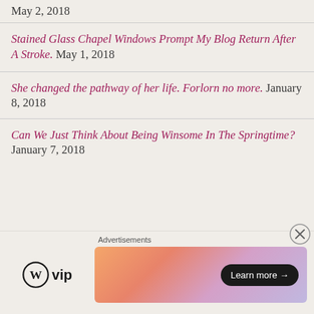May 2, 2018
Stained Glass Chapel Windows Prompt My Blog Return After A Stroke. May 1, 2018
She changed the pathway of her life. Forlorn no more. January 8, 2018
Can We Just Think About Being Winsome In The Springtime? January 7, 2018
Advertisements
[Figure (logo): WordPress VIP logo with circle W icon and 'vip' text]
[Figure (illustration): Colorful gradient advertisement banner with 'Learn more →' button]